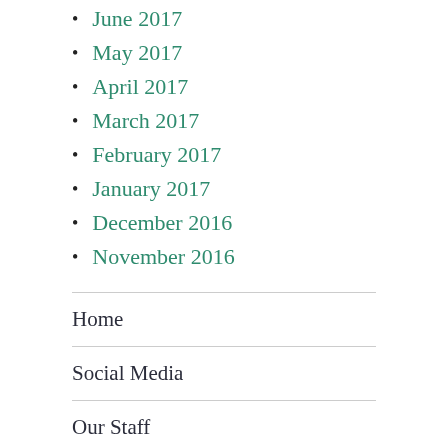June 2017
May 2017
April 2017
March 2017
February 2017
January 2017
December 2016
November 2016
Home
Social Media
Our Staff
About Us